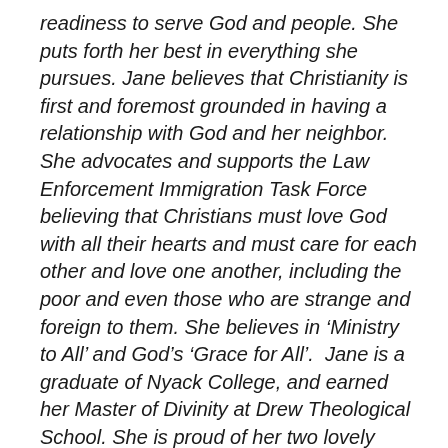readiness to serve God and people. She puts forth her best in everything she pursues. Jane believes that Christianity is first and foremost grounded in having a relationship with God and her neighbor. She advocates and supports the Law Enforcement Immigration Task Force believing that Christians must love God with all their hearts and must care for each other and love one another, including the poor and even those who are strange and foreign to them. She believes in ‘Ministry to All’ and God’s ‘Grace for All’.  Jane is a graduate of Nyack College, and earned her Master of Divinity at Drew Theological School. She is proud of her two lovely children. Her son Joshua works at West Point serving in the Army, and her daughter Christine works in Manhattan as a recruiter. She is passionate about justice. Many times, as a speaker addressing the UMW, she played an important role to encourage women to continue to serve God with their tender and loving hearts. She strongly